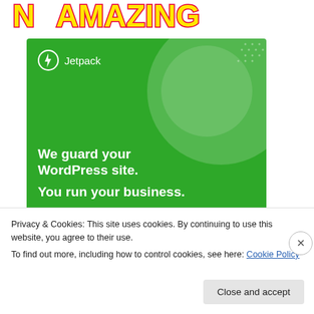[Figure (logo): Partial logo banner at top with yellow and red block letters on white background]
[Figure (screenshot): Jetpack advertisement banner: green background with white circle decoration and dot pattern. Shows Jetpack logo (lightning bolt icon) and text 'We guard your WordPress site. You run your business.']
Privacy & Cookies: This site uses cookies. By continuing to use this website, you agree to their use.
To find out more, including how to control cookies, see here: Cookie Policy
Close and accept